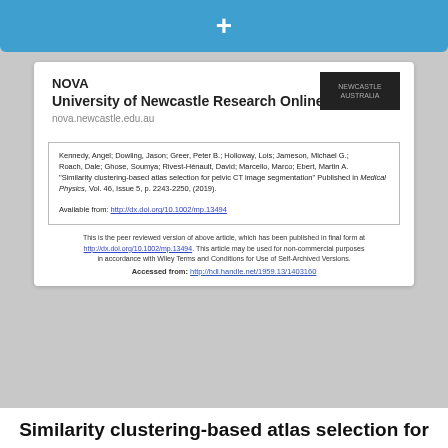+
NOVA
University of Newcastle Research Online
nova.newcastle.edu.au
Kennedy, Angel; Dowling, Jason; Greer, Peter B.; Holloway, Lois; Jameson, Michael G.; Roach, Dale; Ghose, Soumya; Rivest-Hénault, David; Marcello, Marco; Ebert, Martin A. "Similarity clustering-based atlas selection for pelvic CT image segmentation" Published in Medical Physics, Vol. 46, Issue 5, p. 2243-2250, (2019).

Available from: http://dx.doi.org/10.1002/mp.13494
This is the peer reviewed version of above article, which has been published in final form at http://dx.doi.org/10.1002/mp.13494. This article may be used for non-commercial purposes in accordance with Wiley Terms and Conditions for Use of Self-Archived Versions.

Accessed from: http://hdl.handle.net/1959.13/1403160
Similarity clustering-based atlas selection for